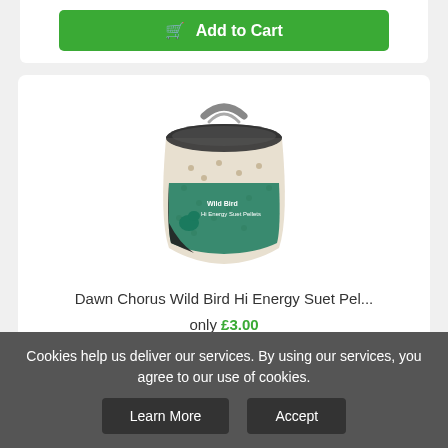Add to Cart
[Figure (photo): A large bucket/tub of Dawn Chorus Wild Bird Hi Energy Suet Pellets with a handle on top, filled with beige pellets, and a teal and black label on the front.]
Dawn Chorus Wild Bird Hi Energy Suet Pel...
only £3.00
★★★★★
View
Cookies help us deliver our services. By using our services, you agree to our use of cookies.
Learn More
Accept